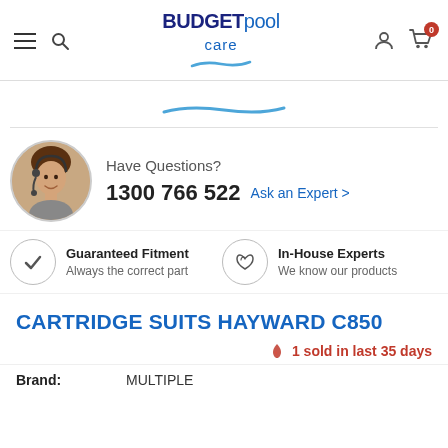BUDGETpoolcare — navigation header with hamburger menu, search, logo, account, and cart (0 items)
[Figure (illustration): Budget Pool Care logo with wave underline in blue]
[Figure (illustration): Blue wave/swoosh decorative divider centered on page]
[Figure (photo): Circular headshot of a female customer support agent wearing a headset microphone]
Have Questions?
1300 766 522  Ask an Expert >
[Figure (illustration): Circle icon with checkmark — Guaranteed Fitment]
Guaranteed Fitment
Always the correct part
[Figure (illustration): Circle icon with phone handset — In-House Experts]
In-House Experts
We know our products
CARTRIDGE SUITS HAYWARD C850
🔥 1 sold in last 35 days
| Brand: | MULTIPLE |
| --- | --- |